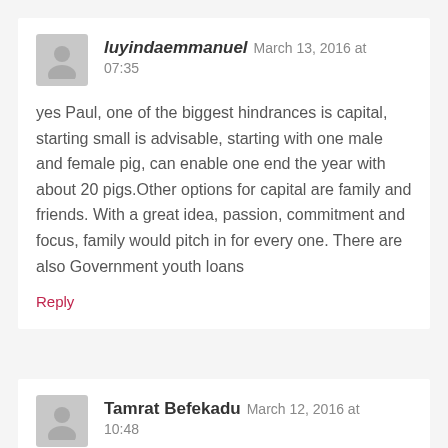luyindaemmanuel   March 13, 2016 at 07:35
yes Paul, one of the biggest hindrances is capital, starting small is advisable, starting with one male and female pig, can enable one end the year with about 20 pigs.Other options for capital are family and friends. With a great idea, passion, commitment and focus, family would pitch in for every one. There are also Government youth loans
Reply
Tamrat Befekadu   March 12, 2016 at 10:48